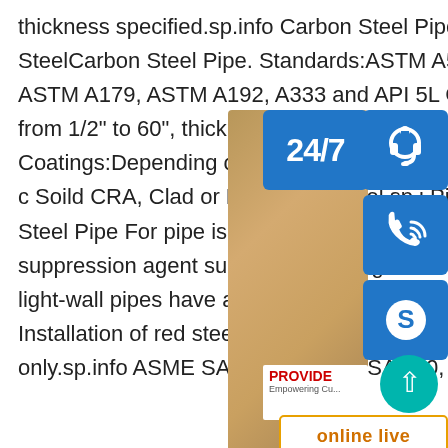thickness specified.sp.info Carbon Steel Pipe Specificatoin - Octal SteelCarbon Steel Pipe. Standards:ASTM A53 B, ASTM A106 Gr. B, ASTM A179, ASTM A192, A333 and API 5L Gr B to X70. Sizes:Out from 1/2" to 60", thickness from sch10 to to 45mm. Coatings:Depending on client FBE, Zinc Coating will be applied. More c Soild CRA, Clad or Lined alloy steel sp.i Pipe_Seamless & Welded Steel Pipe For pipe is a type of normal carbon steel pipe fire suppression agent such as water or gas. Usually it is red in color. But light-wall pipes have a galvanized exterior of a silvery appearance. Installation of red steel pipe is limited to wet pipe sprinkler systems only.sp.info ASME SA 179, SA 178, SA 210, SA 334, SA 53, SA 106
[Figure (infographic): Customer support widget overlay with photo of woman with headset, 24/7 text, headset icon, phone icon, Skype icon, PROVIDE branding, online live button, and scroll-to-top button]